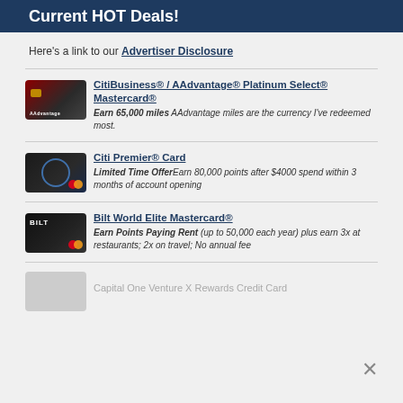Current HOT Deals!
Here's a link to our Advertiser Disclosure
CitiBusiness® / AAdvantage® Platinum Select® Mastercard® — Earn 65,000 miles AAdvantage miles are the currency I've redeemed most.
Citi Premier® Card — Limited Time Offer Earn 80,000 points after $4000 spend within 3 months of account opening
Bilt World Elite Mastercard® — Earn Points Paying Rent (up to 50,000 each year) plus earn 3x at restaurants; 2x on travel; No annual fee
Capital One Venture X Rewards Credit Card